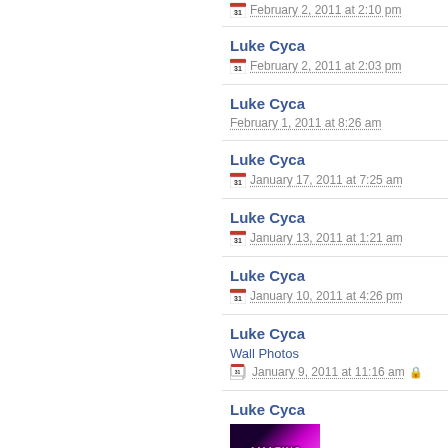February 2, 2011 at 2:10 pm
Luke Cyca
February 2, 2011 at 2:03 pm
Luke Cyca
February 1, 2011 at 8:26 am
Luke Cyca
January 17, 2011 at 7:25 am
Luke Cyca
January 13, 2011 at 1:21 am
Luke Cyca
January 10, 2011 at 4:26 pm
Luke Cyca
Wall Photos
January 9, 2011 at 11:16 am
Luke Cyca
[Figure (photo): Thumbnail image with colorful stylized text on dark background]